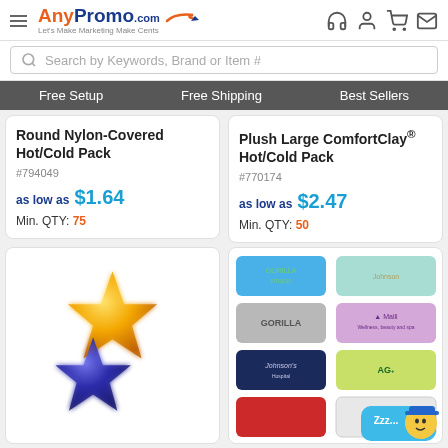[Figure (screenshot): AnyPromo.com website header with logo, navigation icons, search bar, and promotional navigation bar showing Free Setup, Free Shipping, Best Sellers]
Round Nylon-Covered Hot/Cold Pack
#794049
as low as $1.64
Min. QTY: 75
Plush Large ComfortClay® Hot/Cold Pack
#770174
as low as $2.47
Min. QTY: 50
[Figure (photo): Star-shaped hot/cold packs in yellow/orange and blue/purple colors]
[Figure (photo): Grid of rectangular hot/cold packs in various colors (blue, teal, gray, purple, navy, green, red, white) with branded logos]